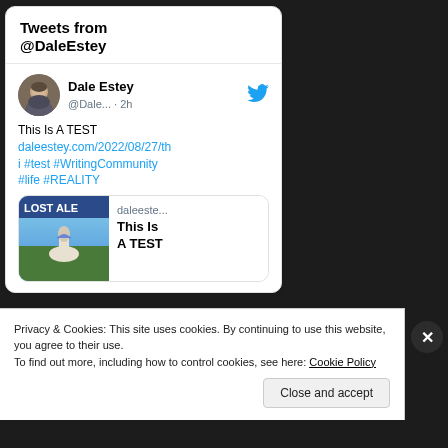Tweets from @DaleEstey
Dale Estey @Dale... · 2h
This Is A TEST daleestey.com/2022/08/27/th i #test #WritingCommunity #life #REALITY
[Figure (screenshot): Tweet card preview with image showing fantasy artwork (woman in white on white horse with animals) and text: daleeste... This Is A TEST]
Privacy & Cookies: This site uses cookies. By continuing to use this website, you agree to their use.
To find out more, including how to control cookies, see here: Cookie Policy
Close and accept